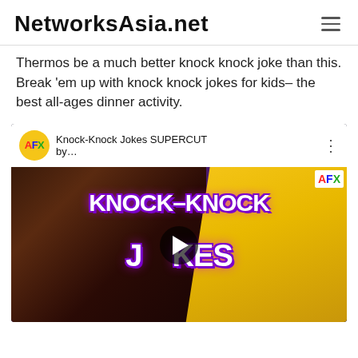NetworksAsia.net
Thermos be a much better knock knock joke than this. Break 'em up with knock knock jokes for kids– the best all-ages dinner activity.
[Figure (screenshot): YouTube video thumbnail showing 'Knock-Knock Jokes SUPERCUT by AFX' with cartoon characters and bold white text reading KNOCK-KNOCK JOKES with a play button overlay]